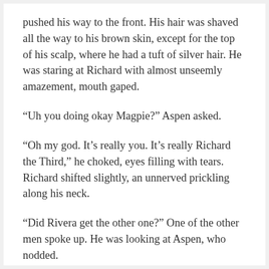pushed his way to the front. His hair was shaved all the way to his brown skin, except for the top of his scalp, where he had a tuft of silver hair. He was staring at Richard with almost unseemly amazement, mouth gaped.
“Uh you doing okay Magpie?” Aspen asked.
“Oh my god. It’s really you. It’s really Richard the Third,” he choked, eyes filling with tears. Richard shifted slightly, an unnerved prickling along his neck.
“Did Rivera get the other one?” One of the other men spoke up. He was looking at Aspen, who nodded.
“You’ll never guess who it was. Harm,” she